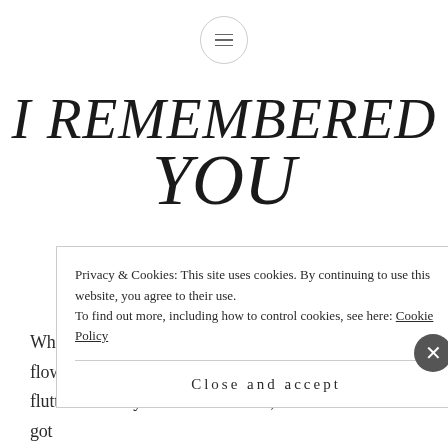[menu icon]
I REMEMBERED YOU
When the bright sun rose behind the mountains, when the flowers gazed up the sun for a glance. When the bees fluttered swiftly around the flower, when the butterflies got
Privacy & Cookies: This site uses cookies. By continuing to use this website, you agree to their use.
To find out more, including how to control cookies, see here: Cookie Policy
Close and accept